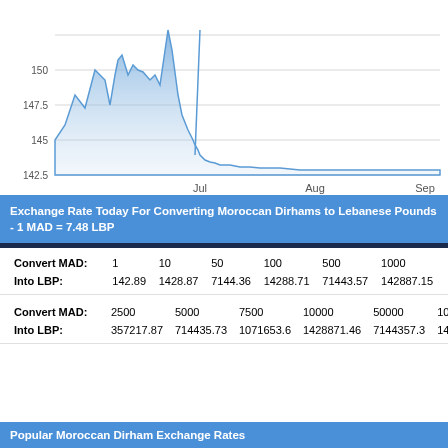[Figure (area-chart): Area chart showing MAD to LBP exchange rate from approximately June to September, with values ranging from about 142.5 to 150+]
Exchange Rate Today For Converting Moroccan Dirhams to Lebanese Pounds - 1 MAD = 7.48 LBP
| Convert MAD: | 1 | 10 | 50 | 100 | 500 | 1000 |
| --- | --- | --- | --- | --- | --- | --- |
| Into LBP: | 142.89 | 1428.87 | 7144.36 | 14288.71 | 71443.57 | 142887.15 |
| Convert MAD: | 2500 | 5000 | 7500 | 10000 | 50000 | 100000 |
| --- | --- | --- | --- | --- | --- | --- |
| Into LBP: | 357217.87 | 714435.73 | 1071653.6 | 1428871.46 | 7144357.3 | 14288714.61 |
Popular Moroccan Dirham Exchange Rates